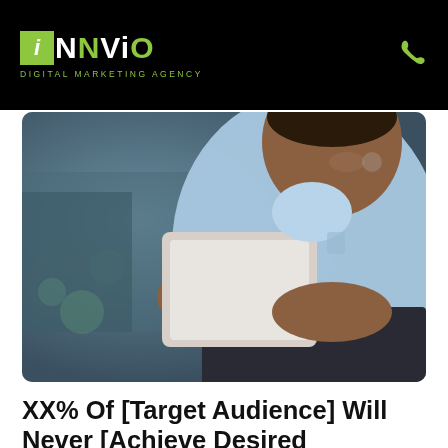INNViO Digital Marketing Agency
[Figure (photo): Man in light blue shirt sitting outdoors, smiling and holding a tablet device, looking at the screen.]
XX% Of [Target Audience] Will Never [Achieve Desired Outcome] Without The Right